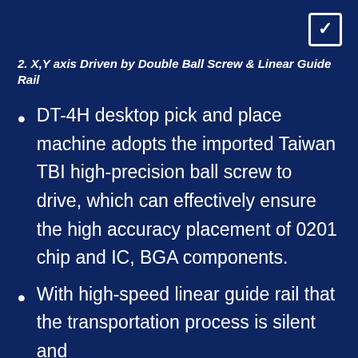[Figure (other): Checkbox icon with checkmark in top-right corner]
2. X,Y axis Driven by Double Ball Screw & Linear Guide Rail
DT-4H desktop pick and place machine adopts the imported Taiwan TBI high-precision ball screw to drive, which can effectively ensure the high accuracy placement of 0201 chip and IC, BGA components.
With high-speed linear guide rail that the transportation process is silent and